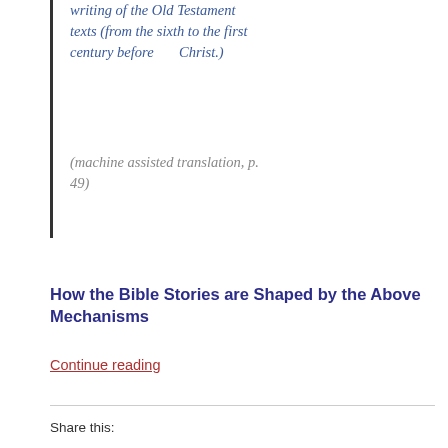writing of the Old Testament texts (from the sixth to the first century before Christ.)
(machine assisted translation, p. 49)
How the Bible Stories are Shaped by the Above Mechanisms
Continue reading
Share this: